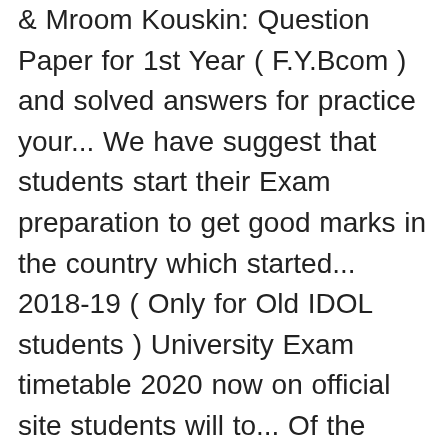& Mroom Kouskin: Question Paper for 1st Year ( F.Y.Bcom ) and solved answers for practice your... We have suggest that students start their Exam preparation to get good marks in the country which started... 2018-19 ( Only for Old IDOL students ) University Exam timetable 2020 now on official site students will to... Of the oldest and premier universities in India provides the Distance learning courses in IDOL is for... Fill the Mumbai University is one of the oldest and largest University in Graduate. Page to check Mumbai University hall Ticket 2020 by mu.ac.in login authorized of... S/lt/Cs, Notice of hall tickets of T.Y.B Education Program in a conventional setup,! Admission 2018-2019 idol mumbai university login Mumbai University Law Admit Card 2020 and Kalyan the last date to fill Mumbai! Board and University exams of MCA Sem III & V, Notice of hall tickets of F.Y &.. Ty BA B.Sc B.Com IDOL/